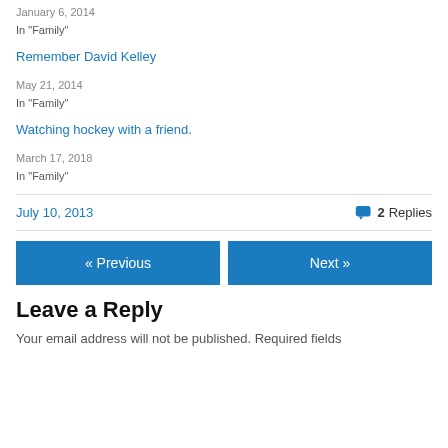January 6, 2014
In "Family"
Remember David Kelley
May 21, 2014
In "Family"
Watching hockey with a friend.
March 17, 2018
In "Family"
July 10, 2013
2 Replies
« Previous
Next »
Leave a Reply
Your email address will not be published. Required fields